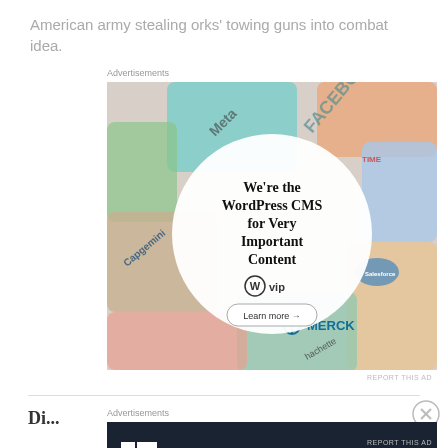American army stealing orks' towing guns into combat idea.
Advertisements
[Figure (screenshot): WordPress VIP advertisement banner showing brand logos (Meta, Facebook, Capgemini, Merck, Salesforce, Hachette, etc.) arranged around a central white circle with text: 'We're the WordPress CMS for Very Important Content' with WordPress VIP logo and a 'Learn more →' button.]
REPORT THIS AD
Advertisements
[Figure (screenshot): Linear2 advertisement on dark navy background with white bold text: 'Fewer meetings, more work.' with Linear2 logo icon on the left.]
REPORT THIS AD